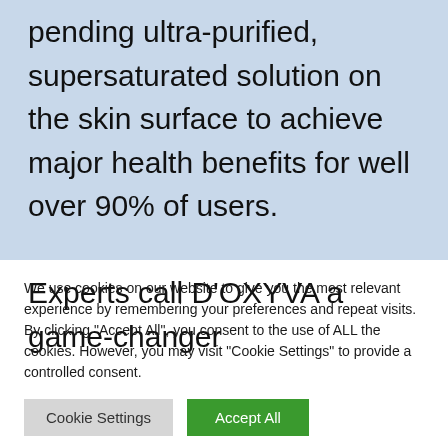pending ultra-purified, supersaturated solution on the skin surface to achieve major health benefits for well over 90% of users.
Experts call D'OXYVA a game-changer
We use cookies on our website to give you the most relevant experience by remembering your preferences and repeat visits. By clicking "Accept All", you consent to the use of ALL the cookies. However, you may visit "Cookie Settings" to provide a controlled consent.